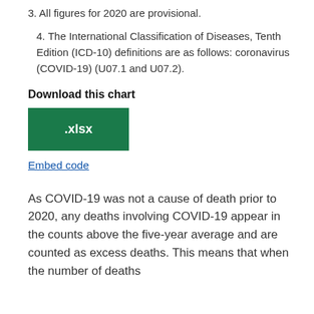3. All figures for 2020 are provisional.
4. The International Classification of Diseases, Tenth Edition (ICD-10) definitions are as follows: coronavirus (COVID-19) (U07.1 and U07.2).
Download this chart
[Figure (other): Green .xlsx download button]
Embed code
As COVID-19 was not a cause of death prior to 2020, any deaths involving COVID-19 appear in the counts above the five-year average and are counted as excess deaths. This means that when the number of deaths